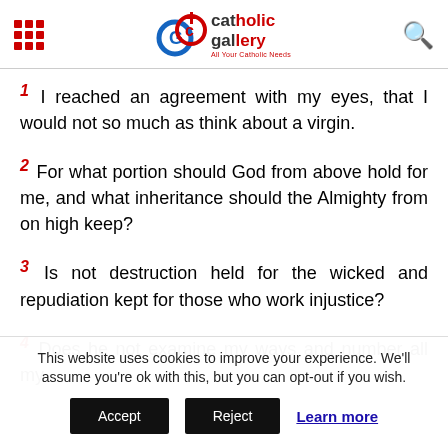Catholic Gallery - All Your Catholic Needs
1 I reached an agreement with my eyes, that I would not so much as think about a virgin.
2 For what portion should God from above hold for me, and what inheritance should the Almighty from on high keep?
3 Is not destruction held for the wicked and repudiation kept for those who work injustice?
4 Does he not examine my ways and number all my
This website uses cookies to improve your experience. We'll assume you're ok with this, but you can opt-out if you wish. Accept Reject Learn more